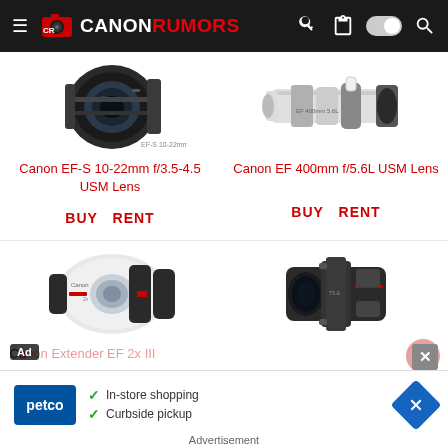CANON RUMORS
[Figure (photo): Canon EF-S 10-22mm f/3.5-4.5 USM Lens product photo - black zoom lens]
Canon EF-S 10-22mm f/3.5-4.5 USM Lens
BUY   RENT
[Figure (photo): Canon EF 400mm f/5.6L USM Lens product photo - white telephoto lens]
Canon EF 400mm f/5.6L USM Lens
BUY   RENT
[Figure (photo): Canon 2x extender/teleconverter product photo - white and black lens accessory]
Ca...
S...
[Figure (photo): Canon tilt-shift lens product photo - black lens]
[Figure (screenshot): Petco advertisement overlay showing In-store shopping and Curbside pickup options]
Advertisement